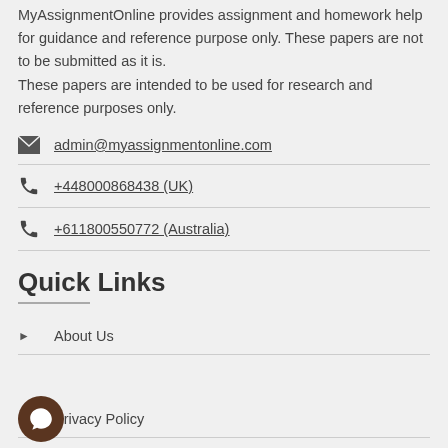MyAssignmentOnline provides assignment and homework help for guidance and reference purpose only. These papers are not to be submitted as it is. These papers are intended to be used for research and reference purposes only.
admin@myassignmentonline.com
+448000868438 (UK)
+611800550772 (Australia)
Quick Links
About Us
Privacy Policy